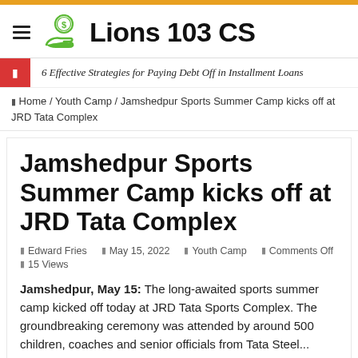Lions 103 CS
6 Effective Strategies for Paying Debt Off in Installment Loans
Home / Youth Camp / Jamshedpur Sports Summer Camp kicks off at JRD Tata Complex
Jamshedpur Sports Summer Camp kicks off at JRD Tata Complex
Edward Fries   May 15, 2022   Youth Camp   Comments Off   15 Views
Jamshedpur, May 15: The long-awaited sports summer camp kicked off today at JRD Tata Sports Complex. The groundbreaking ceremony was attended by around 500 children, coaches and senior officials from Tata Steel...